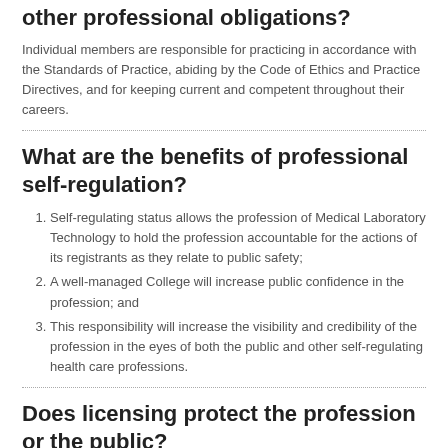other professional obligations?
Individual members are responsible for practicing in accordance with the Standards of Practice, abiding by the Code of Ethics and Practice Directives, and for keeping current and competent throughout their careers.
What are the benefits of professional self-regulation?
Self-regulating status allows the profession of Medical Laboratory Technology to hold the profession accountable for the actions of its registrants as they relate to public safety;
A well-managed College will increase public confidence in the profession; and
This responsibility will increase the visibility and credibility of the profession in the eyes of both the public and other self-regulating health care professions.
Does licensing protect the profession or the public?